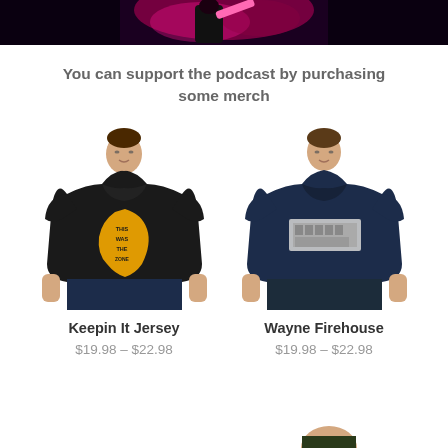[Figure (photo): Top banner photo showing a performer on stage with pink/red lighting and dark background]
You can support the podcast by purchasing some merch
[Figure (photo): Man wearing a black t-shirt with yellow New Jersey state shape graphic that reads 'Keepin It Jersey']
Keepin It Jersey
$19.98 – $22.98
[Figure (photo): Man wearing a navy blue t-shirt with a Wayne Firehouse graphic]
Wayne Firehouse
$19.98 – $22.98
[Figure (photo): Partial view of another product image cut off at bottom of page]